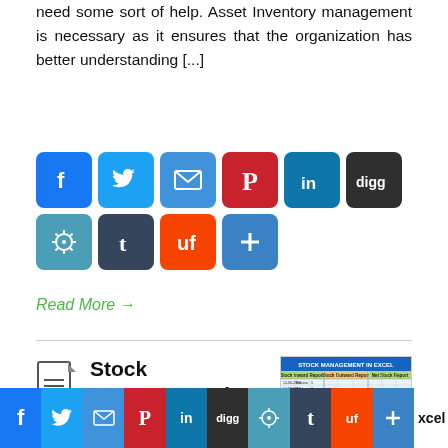need some sort of help. Asset Inventory management is necessary as it ensures that the organization has better understanding [...]
[Figure (screenshot): Social sharing buttons: Facebook, Twitter, Email, Pinterest, LinkedIn, Digg, StumbleUpon, Tumblr, Reddit, Share]
Read More →
Stock Management in Excel Sheet
[Figure (screenshot): Thumbnail image of Stock Management in Excel spreadsheet showing Stock Inward Report, Stock Outward Report, and Net Stock Report]
[Figure (screenshot): Social sharing buttons row: Facebook, Twitter, Email, Pinterest, LinkedIn, Digg, StumbleUpon, Tumblr, Reddit, Share, followed by text 'xcel']